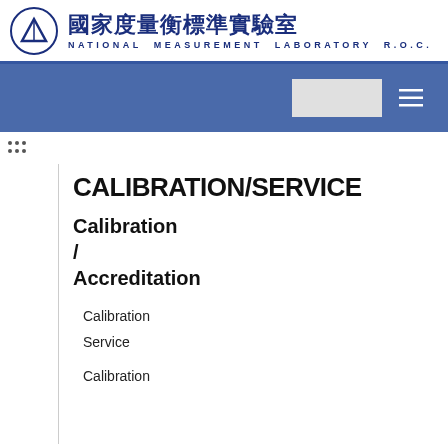國家度量衡標準實驗室 NATIONAL MEASUREMENT LABORATORY R.O.C.
[Figure (logo): Circular logo with triangle/mountain symbol for National Measurement Laboratory R.O.C.]
CALIBRATION/SERVICE
Calibration / Accreditation
Calibration Service
Calibration Accreditation